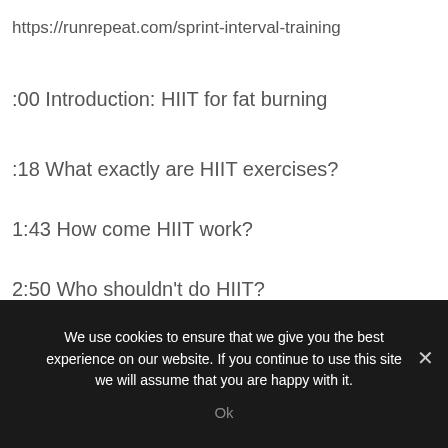https://runrepeat.com/sprint-interval-training
:00 Introduction: HIIT for fat burning
:18 What exactly are HIIT exercises?
1:43 How come HIIT work?
2:50 Who shouldn't do HIIT?
7:50 What goes on whenever you do HIIT
We use cookies to ensure that we give you the best experience on our website. If you continue to use this site we will assume that you are happy with it.
Ok